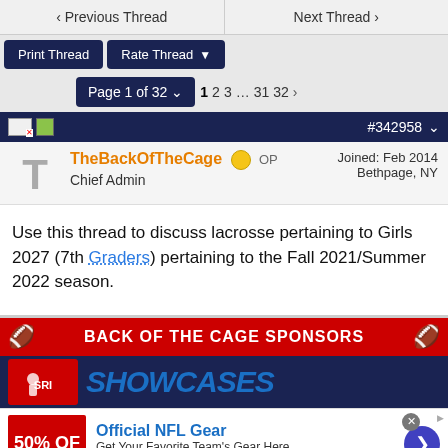◀ Previous Thread   Next Thread ▶
Print Thread   Rate Thread ▼
Page 1 of 32 ∨   1  2  3  ...  31  32  ▶
#342958 ∨
TheBackOfTheCage OP   Chief Admin   Joined: Feb 2014   Bethpage, NY
Use this thread to discuss lacrosse pertaining to Girls 2027 (7th Graders) pertaining to the Fall 2021/Summer 2022 season.
BACK OF THE CAGE SPONSORS
[Figure (logo): SRI Showcases logo with red background and player silhouette, SHOWCASES text in blue]
[Figure (infographic): NFL Gear advertisement: Official NFL Gear - Get Your Favorite Team's Gear Here - www.nflshop.com - 50% OFF shown on red background]